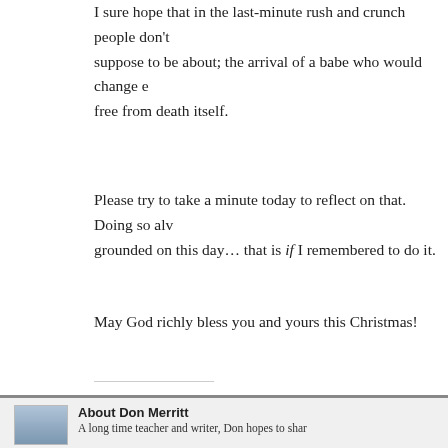I sure hope that in the last-minute rush and crunch people don't forget what it's supposed to be about; the arrival of a babe who would change everything, setting us free from death itself.
Please try to take a minute today to reflect on that. Doing so always keeps me grounded on this day… that is if I remembered to do it.
May God richly bless you and yours this Christmas!
Share this:
[Figure (screenshot): Social sharing buttons: Twitter, Facebook, LinkedIn, Tumblr, Pinterest]
[Figure (screenshot): Like button and 29 blogger avatar thumbnails. Text: 29 bloggers like this.]
About Don Merritt
A long time teacher and writer, Don hopes to share...